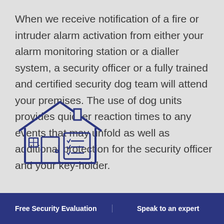When we receive notification of a fire or intruder alarm activation from either your alarm monitoring station or a dialler system, a security officer or a fully trained and certified security dog team will attend your premises. The use of dog units provides quicker reaction times to any events that may unfold as well as additional protection for the security officer and your key-holder.
[Figure (illustration): Line-art icon of a building/house with a checklist, representing security evaluation]
Free Security Evaluation    Speak to an expert